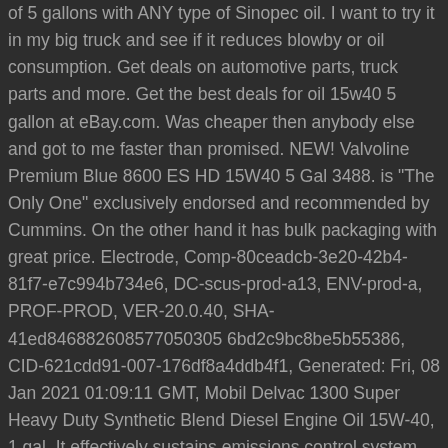of 5 gallons with ANY type of Sinopec oil. I want to try it in my big truck and see if it reduces blowby or oil consumption. Get deals on automotive parts, truck parts and more. Get the best deals for oil 15w40 5 gallon at eBay.com. Was cheaper then anybody else and got to me faster than promised. NEW! Valvoline Premium Blue 8600 ES HD 15W40 5 Gal 3488. is "The Only One" exclusively endorsed and recommended by Cummins. On the other hand it has bulk packaging with great price. Electrode, Comp-80ceadcb-3e20-42b4-81f7-e7c994b734e6, DC-scus-prod-a13, ENV-prod-a, PROF-PROD, VER-20.0.40, SHA-41ed846882608577050305 6bd2c9bc8be5b55386, CID-621cdd91-007-176df8a4ddb4f1, Generated: Fri, 08 Jan 2021 01:09:11 GMT, Mobil Delvac 1300 Super Heavy Duty Synthetic Blend Diesel Engine Oil 15W-40, 1 gal. It effectively sustains emissions control system durability where diesel particulate filters and … Minimizes Oil Consumption AMSOIL Heavy-Duty Synthetic Diesel Oil has a low rate of volatility (burn-off), reducing oil consumption during operation and passing less oil vapor into the combustion chamber. Heavy-duty diesel engines (HDDE) fitted with exhaust after-treatment systems, e.g. Meets the performance requirements and OEM specifications for some of the leading engines, such as Cummins, Detroit Diesel, Man, Mercedes-Benz